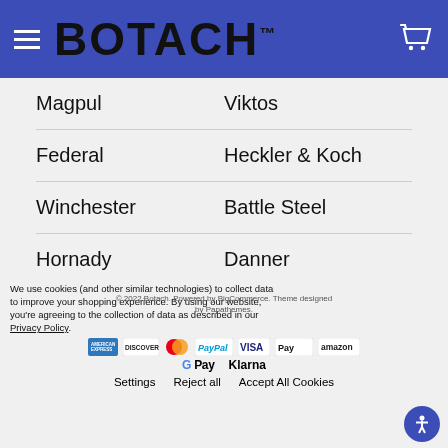BOTACH™
Magpul
Viktos
Federal
Heckler & Koch
Winchester
Battle Steel
Hornady
Danner
Kley-Zion
View All
We use cookies (and other similar technologies) to collect data to improve your shopping experience. By using our website, you're agreeing to the collection of data as described in our Privacy Policy.
© 2022 Botach. Powered by BigCommerce. Theme designed by Papathemes.
Settings   Reject all   Accept All Cookies